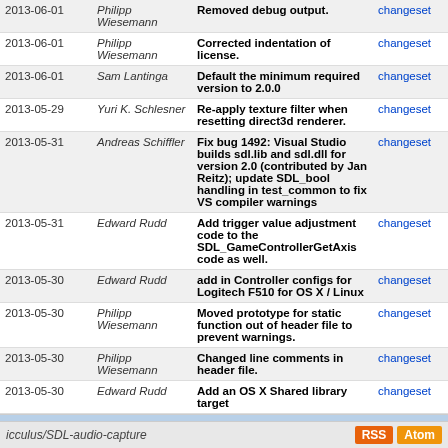| Date | Author | Message |  |
| --- | --- | --- | --- |
| 2013-06-01 | Philipp Wiesemann | Removed debug output. | changeset |
| 2013-06-01 | Philipp Wiesemann | Corrected indentation of license. | changeset |
| 2013-06-01 | Sam Lantinga | Default the minimum required version to 2.0.0 | changeset |
| 2013-05-29 | Yuri K. Schlesner | Re-apply texture filter when resetting direct3d renderer. | changeset |
| 2013-05-31 | Andreas Schiffler | Fix bug 1492: Visual Studio builds sdl.lib and sdl.dll for version 2.0 (contributed by Jan Reitz); update SDL_bool handling in test_common to fix VS compiler warnings | changeset |
| 2013-05-31 | Edward Rudd | Add trigger value adjustment code to the SDL_GameControllerGetAxis code as well. | changeset |
| 2013-05-30 | Edward Rudd | add in Controller configs for Logitech F510 for OS X / Linux | changeset |
| 2013-05-30 | Philipp Wiesemann | Moved prototype for static function out of header file to prevent warnings. | changeset |
| 2013-05-30 | Philipp Wiesemann | Changed line comments in header file. | changeset |
| 2013-05-30 | Edward Rudd | Add an OS X Shared library target | changeset |
Loading...
(0) -3000 -1000 -300 -100 -60 +60 +100 +300 +1000 tip
icculus/SDL-audio-capture